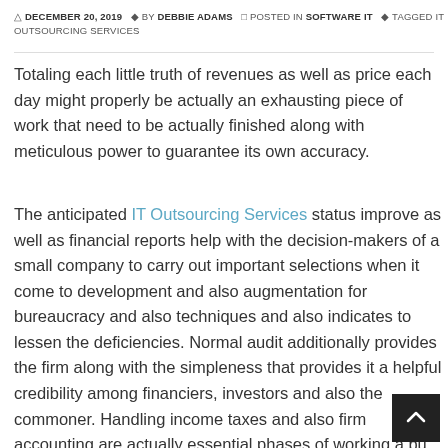DECEMBER 20, 2019  BY DEBBIE ADAMS  POSTED IN SOFTWARE IT  TAGGED IT OUTSOURCING SERVICES
Totaling each little truth of revenues as well as price each day might properly be actually an exhausting piece of work that need to be actually finished along with meticulous power to guarantee its own accuracy.
The anticipated IT Outsourcing Services status improve as well as financial reports help with the decision-makers of a small company to carry out important selections when it come to development and also augmentation for bureaucracy and also techniques and also indicates to lessen the deficiencies. Normal audit additionally provides the firm along with the simpleness that provides it a helpful credibility among financiers, investors and also the commoner. Handling income taxes and also firm accounting are actually essential phases of working a bu every company actually intends to acquire a clean profile as, as